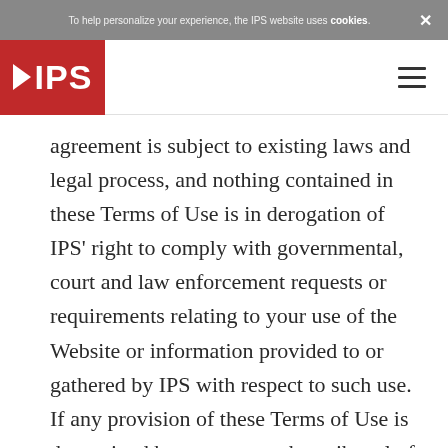To help personalize your experience, the IPS website uses cookies. ×
[Figure (logo): IPS logo: red rectangle with white play triangle and white bold text IPS]
agreement is subject to existing laws and legal process, and nothing contained in these Terms of Use is in derogation of IPS' right to comply with governmental, court and law enforcement requests or requirements relating to your use of the Website or information provided to or gathered by IPS with respect to such use. If any provision of these Terms of Use is determined by a court or other tribunal of competent jurisdiction to be invalid or